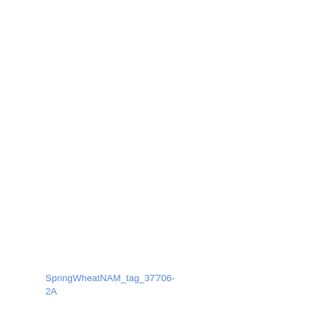SpringWheatNAM_tag_37706-2A   locus   0
Wheat ABD - Wheat NAM12-Berkut-x-Cltr11223 - Wheat-2018-NAM12-BxCltr11223
Wheat ABD - Wheat NAM3-Berkut-x-PI283147 - Wheat-2018-NAM3-BxPI283147_2A
Wheat ABD - Wheat NAM11-Berkut-x-Cltr4175 - Wheat-2018-NAM11-BxCltr4175_2A
Wheat ABD - Wheat NAM2-Berkut-x-PI572692 - Wheat-2018-NAM2-BxPI572692_2A
Wheat ABD - Wheat NAM13-Berkut-x-PI262611 - Wheat-2018-NAM13-BxPI262611
Wheat ABD - Wheat NAM16-Berkut-x-PI8813 - Wheat-2018-NAM16-BxPI8813_2A
Wheat ABD - Wheat NAM25-Berkut-x-